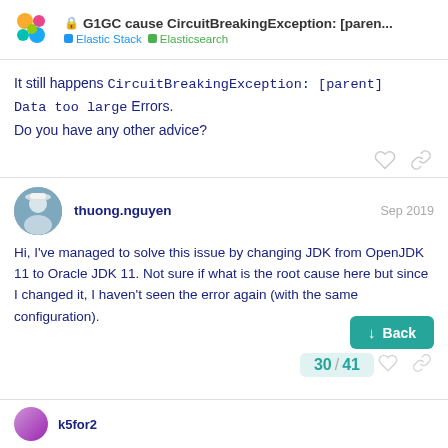G1GC cause CircuitBreakingException: [paren... — Elastic Stack / Elasticsearch
It still happens CircuitBreakingException: [parent] Data too large Errors.
Do you have any other advice?
thuong.nguyen — Sep 2019
Hi, I've managed to solve this issue by changing JDK from OpenJDK 11 to Oracle JDK 11. Not sure if what is the root cause here but since I changed it, I haven't seen the error again (with the same configuration).
k5for2